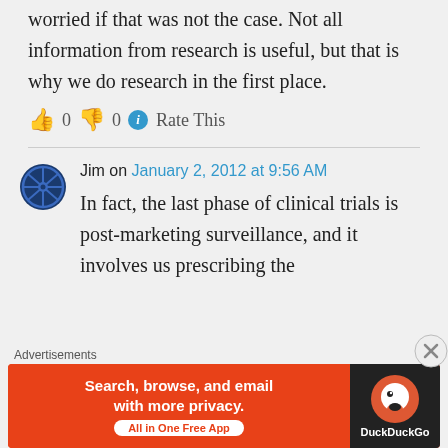worried if that was not the case. Not all information from research is useful, but that is why we do research in the first place.
👍 0 👎 0 ℹ Rate This
Jim on January 2, 2012 at 9:56 AM
In fact, the last phase of clinical trials is post-marketing surveillance, and it involves us prescribing the
Advertisements
[Figure (other): DuckDuckGo advertisement banner: Search, browse, and email with more privacy. All in One Free App. DuckDuckGo logo.]